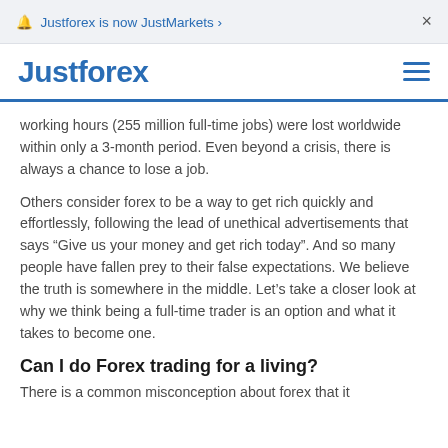🔔 Justforex is now JustMarkets ›   ×
Justforex ≡
working hours (255 million full-time jobs) were lost worldwide within only a 3-month period. Even beyond a crisis, there is always a chance to lose a job.
Others consider forex to be a way to get rich quickly and effortlessly, following the lead of unethical advertisements that says "Give us your money and get rich today". And so many people have fallen prey to their false expectations. We believe the truth is somewhere in the middle. Let's take a closer look at why we think being a full-time trader is an option and what it takes to become one.
Can I do Forex trading for a living?
There is a common misconception about forex that it